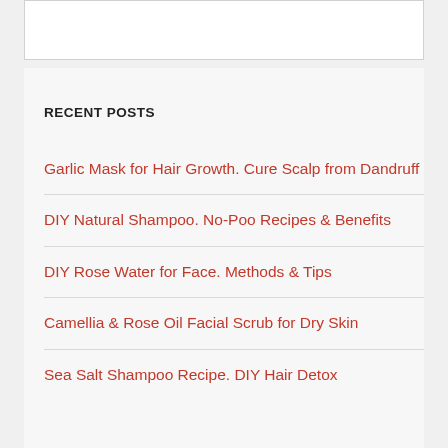RECENT POSTS
Garlic Mask for Hair Growth. Cure Scalp from Dandruff
DIY Natural Shampoo. No-Poo Recipes & Benefits
DIY Rose Water for Face. Methods & Tips
Camellia & Rose Oil Facial Scrub for Dry Skin
Sea Salt Shampoo Recipe. DIY Hair Detox